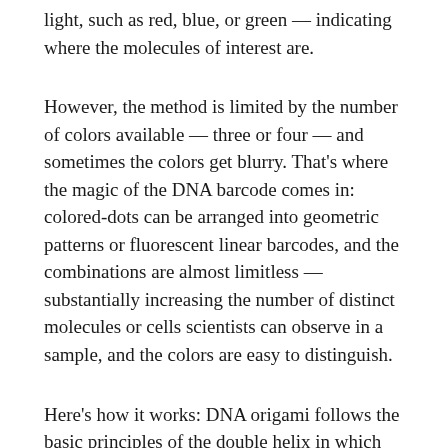light, such as red, blue, or green — indicating where the molecules of interest are.
However, the method is limited by the number of colors available — three or four — and sometimes the colors get blurry. That's where the magic of the DNA barcode comes in: colored-dots can be arranged into geometric patterns or fluorescent linear barcodes, and the combinations are almost limitless — substantially increasing the number of distinct molecules or cells scientists can observe in a sample, and the colors are easy to distinguish.
Here's how it works: DNA origami follows the basic principles of the double helix in which the molecular bases A (adenosine) only bind to T (thymine), and C (cytosine) bases only bind to G (guanine). With those "givens" in place, a long strand of DNA is programmed to self-assemble by folding in on itself with the help of shorter strands to